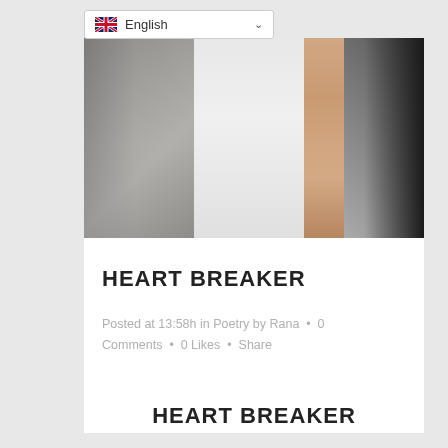English
[Figure (photo): Close-up photo of person in grey blazer and white shirt with bare arm visible]
HEART BREAKER
Posted at 13:58h in Poetry by Rana • 0 Comments • 0 Likes • Share
HEART BREAKER